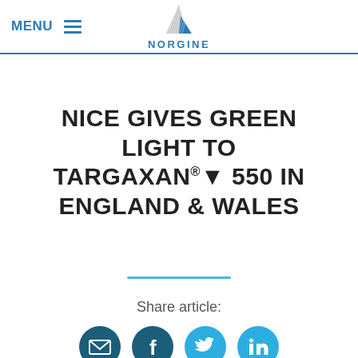MENU | NORGINE (logo)
NICE GIVES GREEN LIGHT TO TARGAXAN®▾ 550 IN ENGLAND & WALES
Share article:
[Figure (other): Social sharing icons: email, Facebook, Twitter, LinkedIn]